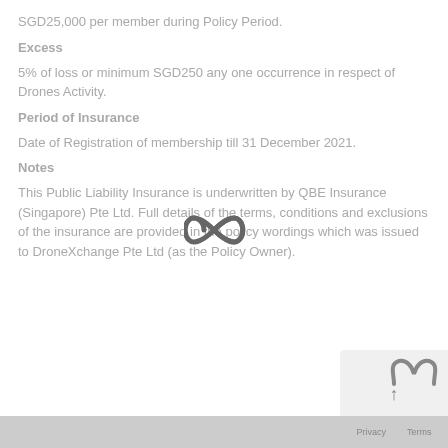SGD25,000 per member during Policy Period.
Excess
5% of loss or minimum SGD250 any one occurrence in respect of Drones Activity.
Period of Insurance
Date of Registration of membership till 31 December 2021.
Notes
This Public Liability Insurance is underwritten by QBE Insurance (Singapore) Pte Ltd. Full details of the terms, conditions and exclusions of the insurance are provided in the policy wordings which was issued to DroneXchange Pte Ltd (as the Policy Owner).
Privacy  Terms